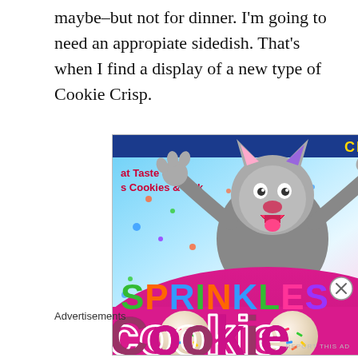maybe–but not for dinner. I'm going to need an appropiate sidedish. That's when I find a display of a new type of Cookie Crisp.
[Figure (photo): Close-up photo of a Cookie Crisp Sprinkles Cookie cereal box featuring a cartoon wolf character with arms raised, colorful confetti dots in the background, text reading 'SPRINKLES Cookie' in large multicolor letters, and a pink banner at the bottom with cookie images showing sprinkles.]
Advertisements